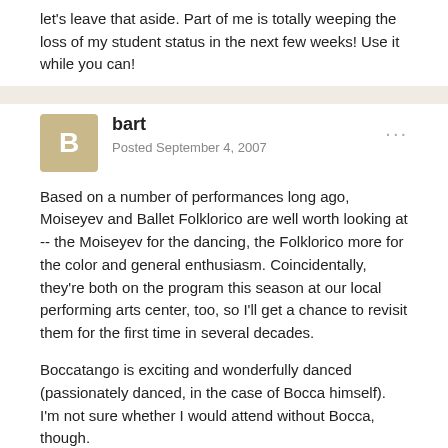let's leave that aside. Part of me is totally weeping the loss of my student status in the next few weeks! Use it while you can!
bart
Posted September 4, 2007
Based on a number of performances long ago, Moiseyev and Ballet Folklorico are well worth looking at -- the Moiseyev for the dancing, the Folklorico more for the color and general enthusiasm. Coincidentally, they're both on the program this season at our local performing arts center, too, so I'll get a chance to revisit them for the first time in several decades.
Boccatango is exciting and wonderfully danced (passionately danced, in the case of Bocca himself). I'm not sure whether I would attend without Bocca, though.
There are a lot of quite competent touring Russian companies touring these days, and you can't afford to miss them if you happen to live outside one of the regions servied by the Kirov or Bolshoi. Because you place about the presentation of Feuer Nikolaev the